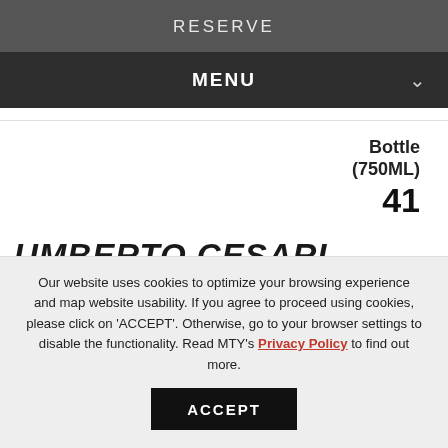RESERVE
MENU
Bottle (750ML)
41
UMBERTO CESARI LIANO
Sangiovese, Cabernet Sauvignon, Emilia-Romagna,
Our website uses cookies to optimize your browsing experience and map website usability. If you agree to proceed using cookies, please click on 'ACCEPT'. Otherwise, go to your browser settings to disable the functionality. Read MTY's Privacy Policy to find out more.
ACCEPT